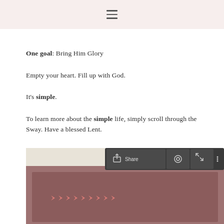≡
One goal: Bring Him Glory
Empty your heart. Fill up with God.
It's simple.
To learn more about the simple life, simply scroll through the Sway. Have a blessed Lent.
[Figure (screenshot): Screenshot of a Microsoft Sway presentation showing a toolbar with Share, settings gear, expand, and more options (…) buttons, and below it a brownish-red background with small pink decorative arrow/chevron shapes.]